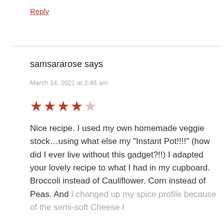Reply
samsararose says
March 14, 2021 at 2:46 am
[Figure (other): 4 out of 5 stars rating in red]
Nice recipe. I used my own homemade veggie stock…using what else my "Instant Pot!!!!" (how did I ever live without this gadget?!!) I adapted your lovely recipe to what I had in my cupboard. Broccoli instead of Cauliflower. Corn instead of Peas. And I changed up my spice profile because of the semi-soft Cheese I